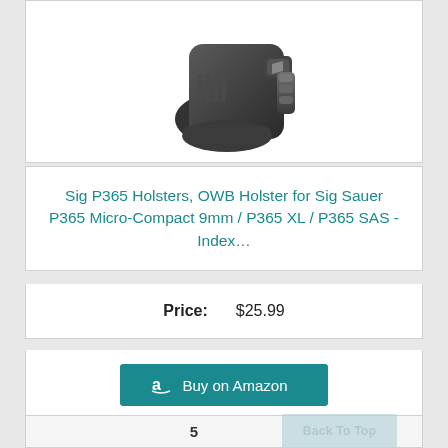[Figure (photo): Product photo of a black polymer OWB holster for a Sig P365, shown from an angled top view. The holster is dark gray/black with textured grip surface and retention paddle.]
Sig P365 Holsters, OWB Holster for Sig Sauer P365 Micro-Compact 9mm / P365 XL / P365 SAS - Index…
Price: $25.99
Buy on Amazon
5